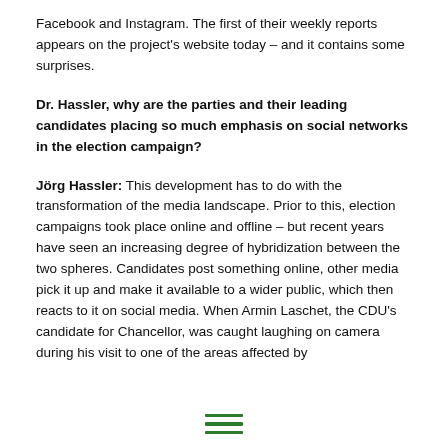Facebook and Instagram. The first of their weekly reports appears on the project's website today – and it contains some surprises.
Dr. Hassler, why are the parties and their leading candidates placing so much emphasis on social networks in the election campaign?
Jörg Hassler: This development has to do with the transformation of the media landscape. Prior to this, election campaigns took place online and offline – but recent years have seen an increasing degree of hybridization between the two spheres. Candidates post something online, other media pick it up and make it available to a wider public, which then reacts to it on social media. When Armin Laschet, the CDU's candidate for Chancellor, was caught laughing on camera during his visit to one of the areas affected by
≡